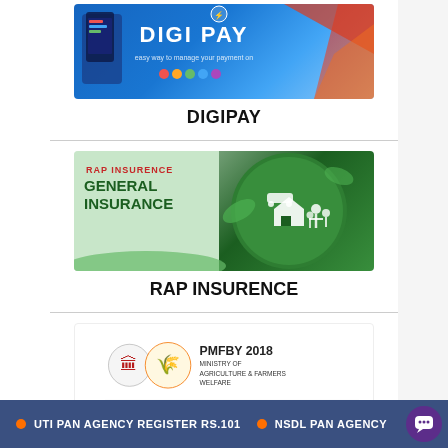[Figure (screenshot): DIGIPAY banner image with blue gradient background showing mobile payment app interface]
DIGIPAY
[Figure (screenshot): RAP INSURENCE / GENERAL INSURANCE banner with green circular graphic showing house, car, and family icons]
RAP INSURENCE
[Figure (screenshot): PMFBY 2018 Ministry of Agriculture & Farmers Welfare crop insurance banner with government emblem and wheat logo]
Crop Insurance - Apply Online, Complaint, Premium
CROP INSURENCE
● UTI PAN AGENCY REGISTER RS.101   ● NSDL PAN AGENCY